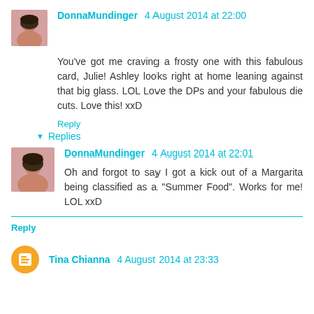DonnaMundinger 4 August 2014 at 22:00
You've got me craving a frosty one with this fabulous card, Julie! Ashley looks right at home leaning against that big glass. LOL Love the DPs and your fabulous die cuts. Love this! xxD
Reply
Replies
DonnaMundinger 4 August 2014 at 22:01
Oh and forgot to say I got a kick out of a Margarita being classified as a "Summer Food". Works for me! LOL xxD
Reply
Tina Chianna 4 August 2014 at 23:33